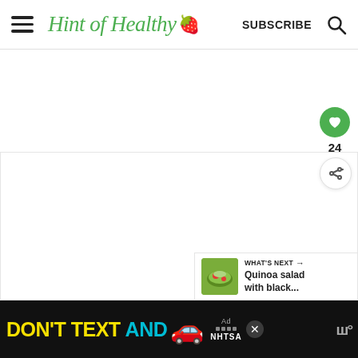Hint of Healthy — SUBSCRIBE
[Figure (screenshot): White content area below header, partially loaded page with blank main image area]
[Figure (infographic): Heart like button (green circle, 24 likes) and share button overlay on right side]
[Figure (infographic): What's Next banner showing Quinoa salad with black... thumbnail and text]
[Figure (screenshot): Ad banner: DON'T TEXT AND [car emoji] NHTSA advertisement on black background]